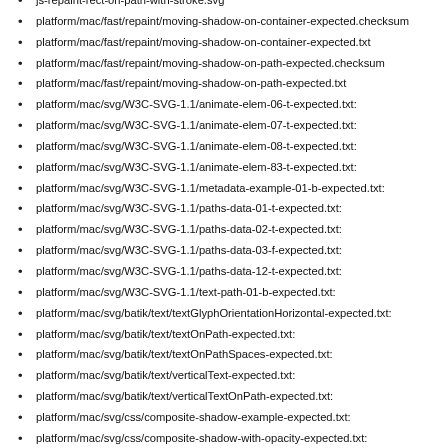js-repaint-rect-on-path-with-stroke.svg
platform/mac/fast/repaint/moving-shadow-on-container-expected.checksum
platform/mac/fast/repaint/moving-shadow-on-container-expected.txt
platform/mac/fast/repaint/moving-shadow-on-path-expected.checksum
platform/mac/fast/repaint/moving-shadow-on-path-expected.txt
platform/mac/svg/W3C-SVG-1.1/animate-elem-06-t-expected.txt:
platform/mac/svg/W3C-SVG-1.1/animate-elem-07-t-expected.txt:
platform/mac/svg/W3C-SVG-1.1/animate-elem-08-t-expected.txt:
platform/mac/svg/W3C-SVG-1.1/animate-elem-83-t-expected.txt:
platform/mac/svg/W3C-SVG-1.1/metadata-example-01-b-expected.txt:
platform/mac/svg/W3C-SVG-1.1/paths-data-01-t-expected.txt:
platform/mac/svg/W3C-SVG-1.1/paths-data-02-t-expected.txt:
platform/mac/svg/W3C-SVG-1.1/paths-data-03-f-expected.txt:
platform/mac/svg/W3C-SVG-1.1/paths-data-12-t-expected.txt:
platform/mac/svg/W3C-SVG-1.1/text-path-01-b-expected.txt:
platform/mac/svg/batik/text/textGlyphOrientationHorizontal-expected.txt:
platform/mac/svg/batik/text/textOnPath-expected.txt:
platform/mac/svg/batik/text/textOnPathSpaces-expected.txt:
platform/mac/svg/batik/text/verticalText-expected.txt:
platform/mac/svg/batik/text/verticalTextOnPath-expected.txt:
platform/mac/svg/css/composite-shadow-example-expected.txt:
platform/mac/svg/css/composite-shadow-with-opacity-expected.txt:
platform/mac/svg/custom/animate-path-morphing-expected.txt:
platform/mac/svg/custom/control-points-for-S-and-T-expected.txt:
platform/mac/svg/custom/dasharrayOrigin-expected.txt:
platform/mac/svg/custom/is-repaint-rect-on-path-with-stroke